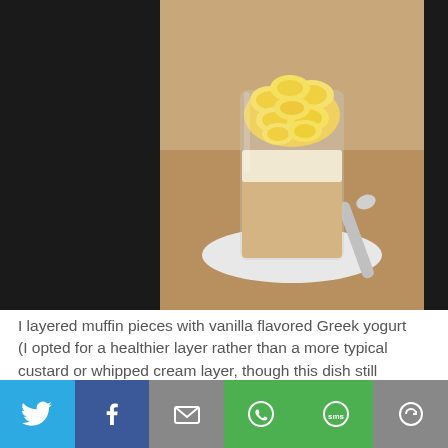[Figure (photo): A glass cup filled with banana pudding topped with sliced fresh bananas, viewed from above, on a white plate with a spoon nearby.]
I layered muffin pieces with vanilla flavored Greek yogurt (I opted for a healthier layer rather than a more typical custard or whipped cream layer, though this dish still qualifies as an extra-special, sugar loaded treat), a bit of caramel topping, and slices of fresh banana.
[Figure (infographic): Social sharing bar with six buttons: Twitter (blue bird icon), Facebook (dark blue F icon), Email (grey envelope icon), WhatsApp (green phone icon), SMS (green SMS icon), More (grey circular arrow icon).]